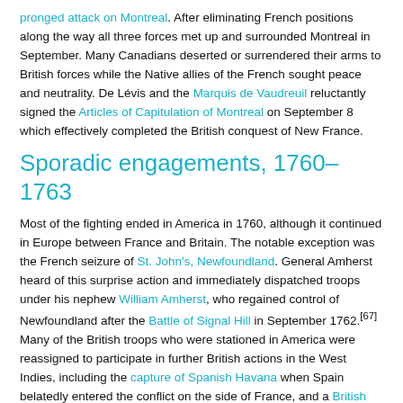pronged attack on Montreal. After eliminating French positions along the way all three forces met up and surrounded Montreal in September. Many Canadians deserted or surrendered their arms to British forces while the Native allies of the French sought peace and neutrality. De Lévis and the Marquis de Vaudreuil reluctantly signed the Articles of Capitulation of Montreal on September 8 which effectively completed the British conquest of New France.
Sporadic engagements, 1760–1763
Most of the fighting ended in America in 1760, although it continued in Europe between France and Britain. The notable exception was the French seizure of St. John's, Newfoundland. General Amherst heard of this surprise action and immediately dispatched troops under his nephew William Amherst, who regained control of Newfoundland after the Battle of Signal Hill in September 1762.[67] Many of the British troops who were stationed in America were reassigned to participate in further British actions in the West Indies, including the capture of Spanish Havana when Spain belatedly entered the conflict on the side of France, and a British expedition against French Martinique in 1762 led by Major General Robert Monckton.[68]